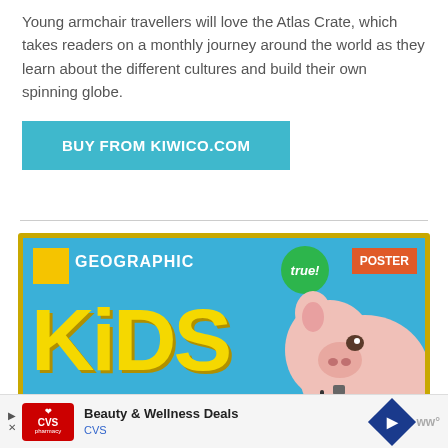Young armchair travellers will love the Atlas Crate, which takes readers on a monthly journey around the world as they learn about the different cultures and build their own spinning globe.
BUY FROM KIWICO.COM
[Figure (photo): National Geographic Kids magazine cover featuring large yellow bubble-letter 'KiDS' text on a blue background, with a small pink pig wearing a harness in the foreground. Also shows 'GEOGRAPHIC', 'true!' badge, and 'POSTER' label at top.]
Beauty & Wellness Deals
CVS